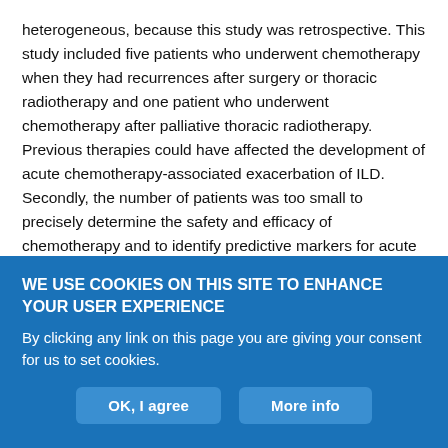heterogeneous, because this study was retrospective. This study included five patients who underwent chemotherapy when they had recurrences after surgery or thoracic radiotherapy and one patient who underwent chemotherapy after palliative thoracic radiotherapy. Previous therapies could have affected the development of acute chemotherapy-associated exacerbation of ILD. Secondly, the number of patients was too small to precisely determine the safety and efficacy of chemotherapy and to identify predictive markers for acute chemotherapy-associated exacerbation of ILD. Performing a large prospective study of specific chemotherapy regimens in patients with advanced NSCLC with ILD is difficult because few
WE USE COOKIES ON THIS SITE TO ENHANCE YOUR USER EXPERIENCE
By clicking any link on this page you are giving your consent for us to set cookies.